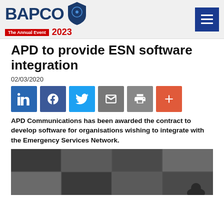BAPCO 2023 The Annual Event
APD to provide ESN software integration
02/03/2020
[Figure (infographic): Social sharing buttons: LinkedIn, Facebook, Twitter, Email, Print, More (+)]
APD Communications has been awarded the contract to develop software for organisations wishing to integrate with the Emergency Services Network.
[Figure (photo): Black and white photo montage showing security/surveillance camera feeds displayed on a large screen, with a person visible in the foreground.]